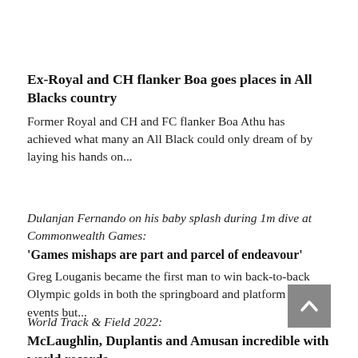Ex-Royal and CH flanker Boa goes places in All Blacks country
Former Royal and CH and FC flanker Boa Athu has achieved what many an All Black could only dream of by laying his hands on...
Dulanjan Fernando on his baby splash during 1m dive at Commonwealth Games:
'Games mishaps are part and parcel of endeavour'
Greg Louganis became the first man to win back-to-back Olympic golds in both the springboard and platform diving events but...
World Track & Field 2022:
McLaughlin, Duplantis and Amusan incredible with world records